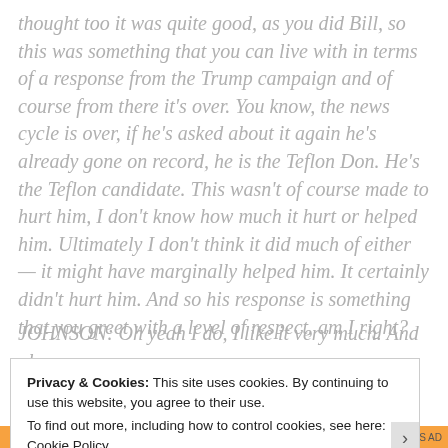thought too it was quite good, as you did Bill, so this was something that you can live with in terms of a response from the Trump campaign and of course from there it's over. You know, the news cycle is over, if he's asked about it again he's already gone on record, he is the Teflon Don. He's the Teflon candidate. This wasn't of course made to hurt him, I don't know how much it hurt or helped him. Ultimately I don't think it did much of either — it might have marginally helped him. It certainly didn't hurt him. And so his response is something that you greet with a level of respect, am I right?
JOHNSON: Oh yeah I do, I like it very much. And also
Privacy & Cookies: This site uses cookies. By continuing to use this website, you agree to their use.
To find out more, including how to control cookies, see here: Cookie Policy
Close and accept